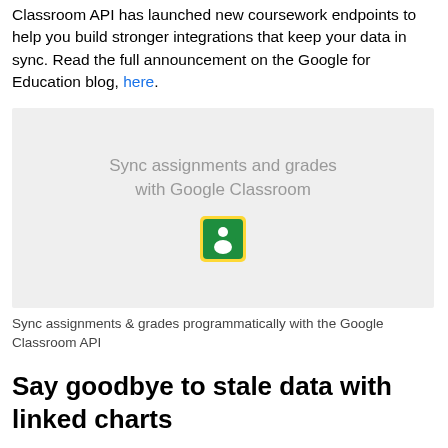Classroom API has launched new coursework endpoints to help you build stronger integrations that keep your data in sync. Read the full announcement on the Google for Education blog, here.
[Figure (screenshot): A light grey box showing the text 'Sync assignments and grades with Google Classroom' and a Google Classroom icon (green/yellow square with a person/chalkboard icon)]
Sync assignments & grades programmatically with the Google Classroom API
Say goodbye to stale data with linked charts